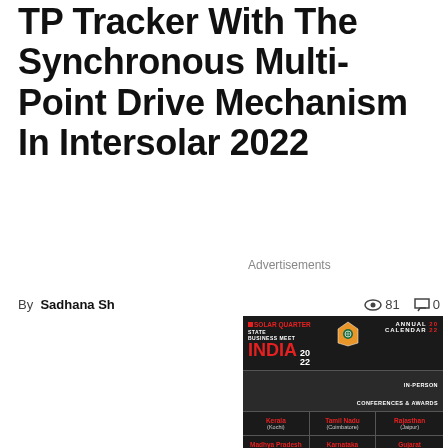TP Tracker With The Synchronous Multi-Point Drive Mechanism In Intersolar 2022
Advertisements
By Sadhana Sh... 👁 81 💬 0
[Figure (infographic): Solar Quarter State Business Meet India 2022 advertisement showing Annual Calendar 2022, with a grid of Indian states: Kerala (Kochi), Tamil Nadu (Coimbatore), Rajasthan (Jaipur), Madhya Pradesh (Indore), Karnataka (Bengaluru), Gujarat (Gandhi Nagar), Punjab (Chandigarh), Uttarakhand (Dehradun), Maharashtra (Pune). Sponsor contact: sponsor@firstviewgroup.com, 9372788472/7718877514. Solar Quarter South Asia logo.]